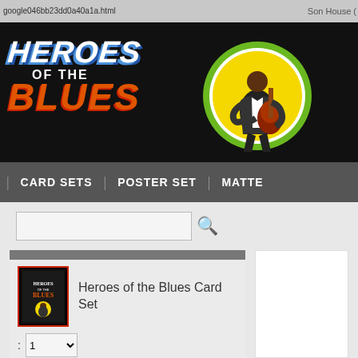google046bb23dd0a40a1a.html
Son House (
[Figure (logo): Heroes of the Blues banner logo with stylized text and circular guitarist emblem on black background]
CARD SETS
POSTER SET
MATTE
[Figure (screenshot): Search input box with magnifying glass icon]
Heroes of the Blues Card Set
1